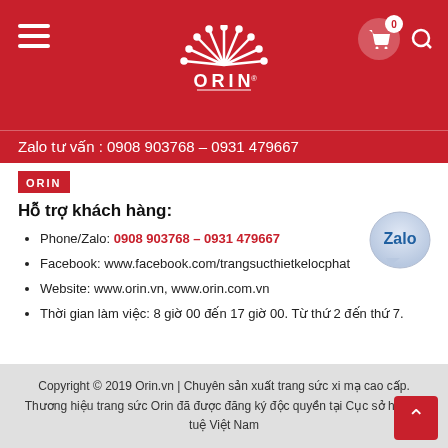ORIN® jewelry — header with logo, hamburger menu, cart and search icons
Zalo tư vấn : 0908 903768 – 0931 479667
[Figure (logo): Small ORIN logo in red box]
Hỗ trợ khách hàng:
Phone/Zalo: 0908 903768 – 0931 479667
Facebook: www.facebook.com/trangsucthietkelocphat
Website: www.orin.vn, www.orin.com.vn
Thời gian làm việc: 8 giờ 00 đến 17 giờ 00. Từ thứ 2 đến thứ 7.
[Figure (logo): Zalo chat bubble icon, circular, blue and white]
Copyright © 2019 Orin.vn | Chuyên sản xuất trang sức xi mạ cao cấp. Thương hiệu trang sức Orin đã được đăng ký độc quyền tại Cục sở hữu trí tuệ Việt Nam